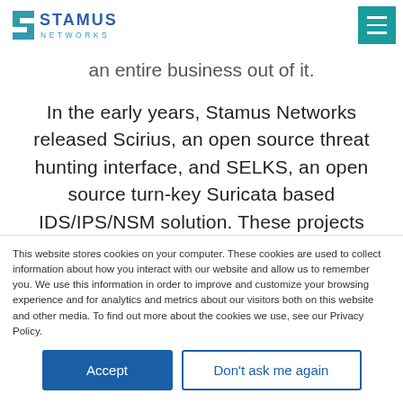[Figure (logo): Stamus Networks logo with angular S icon and teal/blue wordmark]
an entire business out of it.
In the early years, Stamus Networks released Scirius, an open source threat hunting interface, and SELKS, an open source turn-key Suricata based IDS/IPS/NSM solution. These projects became the foundation of our commercial system, Stamus Security Platform, which offers a
This website stores cookies on your computer. These cookies are used to collect information about how you interact with our website and allow us to remember you. We use this information in order to improve and customize your browsing experience and for analytics and metrics about our visitors both on this website and other media. To find out more about the cookies we use, see our Privacy Policy.